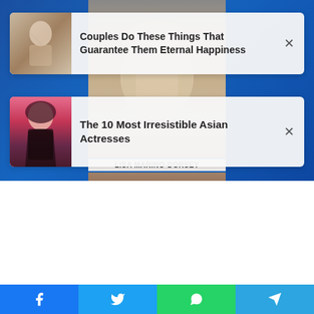[Figure (screenshot): Top section showing a TV news screenshot with blue background. Center shows a person (Lisa Marino-Dorsey) with name bar at bottom. Two sponsored content/ad cards overlay the image.]
Couples Do These Things That Guarantee Them Eternal Happiness
The 10 Most Irresistible Asian Actresses
LISA MARINO-DORSEY
[Figure (infographic): Social share footer bar with Facebook, Twitter, WhatsApp, and Telegram icons]